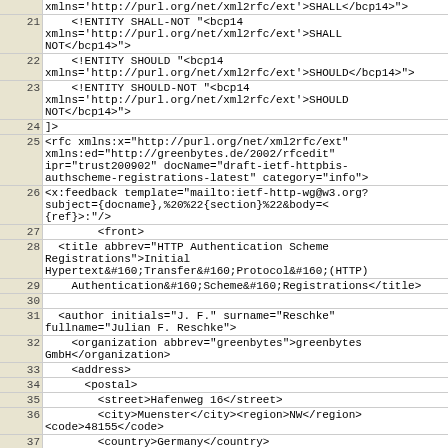Code listing lines 21-39, XML/RFC source document
| Line | Code |
| --- | --- |
|  | xmlns='http://purl.org/net/xml2rfc/ext'>SHALL</bcp14>'> |
| 21 | <!ENTITY SHALL-NOT "<bcp14
xmlns='http://purl.org/net/xml2rfc/ext'>SHALL NOT</bcp14>"> |
| 22 | <!ENTITY SHOULD "<bcp14
xmlns='http://purl.org/net/xml2rfc/ext'>SHOULD</bcp14>"> |
| 23 | <!ENTITY SHOULD-NOT "<bcp14
xmlns='http://purl.org/net/xml2rfc/ext'>SHOULD NOT</bcp14>"> |
| 24 | ]> |
| 25 | <rfc xmlns:x="http://purl.org/net/xml2rfc/ext"
xmlns:ed="http://greenbytes.de/2002/rfcedit"
ipr="trust200902" docName="draft-ietf-httpbis-authscheme-registrations-latest" category="info"> |
| 26 | <x:feedback template="mailto:ietf-http-wg@w3.org?subject={docname},%20%22{section}%22&amp;body=&lt;{ref}&gt;:"/> |
| 27 |     <front> |
| 28 |   <title abbrev="HTTP Authentication Scheme Registrations">Initial Hypertext&#160;Transfer&#160;Protocol&#160;(HTTP) |
| 29 |     Authentication&#160;Scheme&#160;Registrations</title> |
| 30 |  |
| 31 |   <author initials="J. F." surname="Reschke"
fullname="Julian F. Reschke"> |
| 32 |     <organization abbrev="greenbytes">greenbytes GmbH</organization> |
| 33 |     <address> |
| 34 |       <postal> |
| 35 |         <street>Hafenweg 16</street> |
| 36 |         <city>Muenster</city><region>NW</region>
<code>48155</code> |
| 37 |         <country>Germany</country> |
| 38 |     </postal> |
| 39 |       <email>julian.reschke@greenbytes.de</email> |